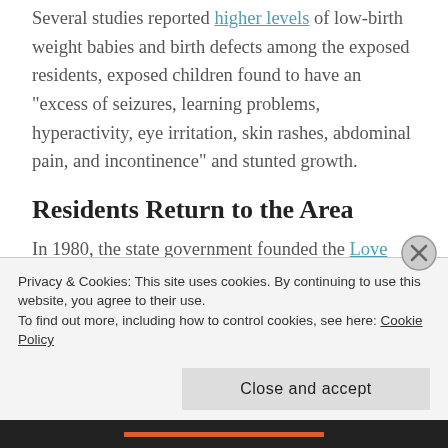Several studies reported higher levels of low-birth weight babies and birth defects among the exposed residents, exposed children found to have an "excess of seizures, learning problems, hyperactivity, eye irritation, skin rashes, abdominal pain, and incontinence" and stunted growth.
Residents Return to the Area
In 1980, the state government founded the Love Canal Area Revitalization Agency (LCARA) to restore the area.  The Federal Government provided $15
Privacy & Cookies: This site uses cookies. By continuing to use this website, you agree to their use.
To find out more, including how to control cookies, see here: Cookie Policy
Close and accept